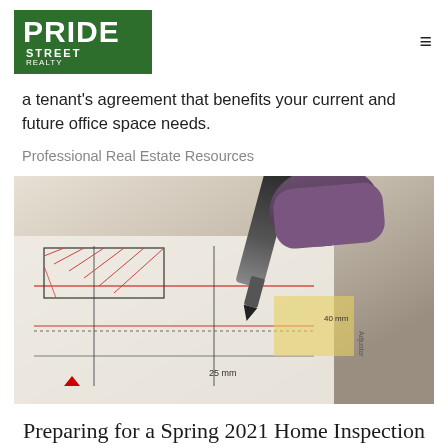PRIDE STREET REALTY
a tenant's agreement that benefits your current and future office space needs.
Professional Real Estate Resources
[Figure (photo): Close-up photo of a hand holding a technical pen drawing architectural or engineering plans with measurement annotations on paper]
Preparing for a Spring 2021 Home Inspection